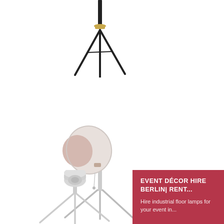[Figure (photo): Black tripod floor lamp base and middle section, partially visible at top of image, with gold accent hardware]
[Figure (photo): White industrial studio floor lamp with dome shade on a silver tripod base, with hanging pull cord]
[Figure (photo): Silver/chrome tripod floor lamp with cylindrical head, lower portion visible at bottom left]
EVENT DÉCOR HIRE BERLIN| RENT...
Hire industrial floor lamps for your event in...